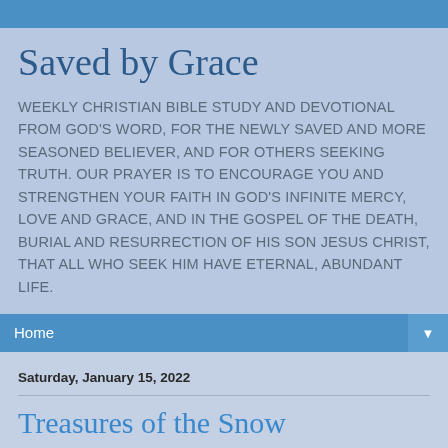Saved by Grace
WEEKLY CHRISTIAN BIBLE STUDY AND DEVOTIONAL FROM GOD'S WORD, FOR THE NEWLY SAVED AND MORE SEASONED BELIEVER, AND FOR OTHERS SEEKING TRUTH. OUR PRAYER IS TO ENCOURAGE YOU AND STRENGTHEN YOUR FAITH IN GOD'S INFINITE MERCY, LOVE AND GRACE, AND IN THE GOSPEL OF THE DEATH, BURIAL AND RESURRECTION OF HIS SON JESUS CHRIST, THAT ALL WHO SEEK HIM HAVE ETERNAL, ABUNDANT LIFE.
Home
Saturday, January 15, 2022
Treasures of the Snow